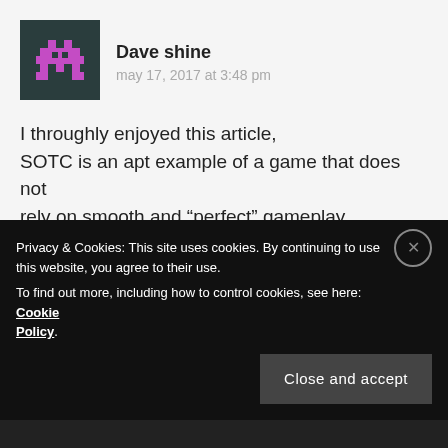[Figure (illustration): Pixel art avatar icon of a purple space invader-style creature on a dark teal/dark background, 80x80px square]
Dave shine
may 17, 2017 at 3:48 pm
I throughly enjoyed this article, SOTC is an apt example of a game that does not rely on smooth and “perfect” gameplay.
I think game developers could benefit fron reading this article, it feels as though some have lost their way a bit.
Privacy & Cookies: This site uses cookies. By continuing to use this website, you agree to their use.
To find out more, including how to control cookies, see here: Cookie Policy
Close and accept